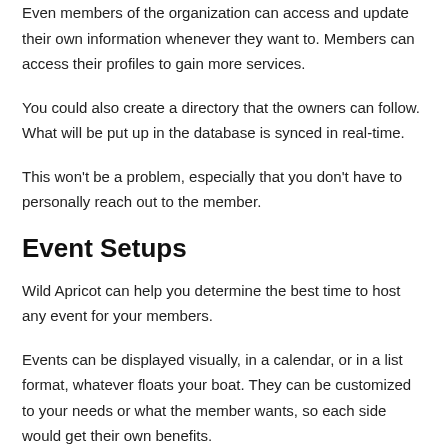Even members of the organization can access and update their own information whenever they want to. Members can access their profiles to gain more services.
You could also create a directory that the owners can follow. What will be put up in the database is synced in real-time.
This won't be a problem, especially that you don't have to personally reach out to the member.
Event Setups
Wild Apricot can help you determine the best time to host any event for your members.
Events can be displayed visually, in a calendar, or in a list format, whatever floats your boat. They can be customized to your needs or what the member wants, so each side would get their own benefits.